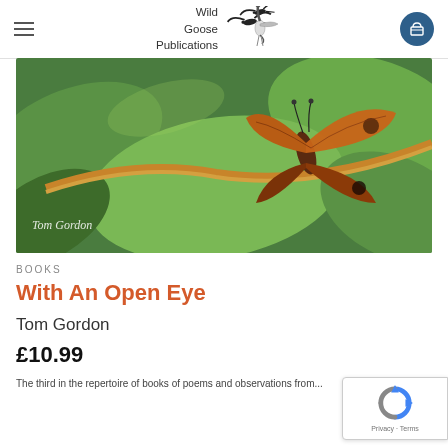Wild Goose Publications
[Figure (photo): Close-up photograph of an orange and brown butterfly resting on a green plant stem with leaves, watermarked 'Tom Gordon']
BOOKS
With An Open Eye
Tom Gordon
£10.99
The third in the repertoire of books of poems and observations from...